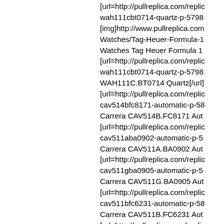[url=http://pullreplica.com/replic...wah111cbt0714-quartz-p-5798... [img]http://www.pullreplica.com...Watches/Tag-Heuer-Formula-1...Watches Tag Heuer Formula 1...[url=http://pullreplica.com/replic...wah111cbt0714-quartz-p-5798...WAH111C.BT0714 Quartz[/url]...[url=http://pullreplica.com/replic...cav514bfc8171-automatic-p-58...Carrera CAV514B.FC8171 Aut...[url=http://pullreplica.com/replic...cav511aba0902-automatic-p-5...Carrera CAV511A.BA0902 Aut...[url=http://pullreplica.com/replic...cav511gba0905-automatic-p-5...Carrera CAV511G.BA0905 Aut...[url=http://pullreplica.com/replic...cav511bfc6231-automatic-p-58...Carrera CAV511B.FC6231 Aut...[url=http://pullreplica.com/replic...cav511efc6231-automatic-p-58...[img]http://www.pullreplica.com...